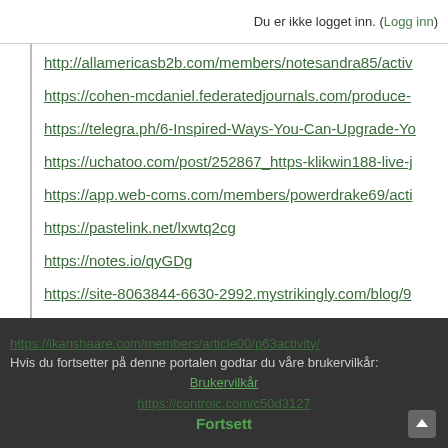Du er ikke logget inn. (Logg inn)
http://allamericasb2b.com/members/notesandra85/activ
https://cohen-mcdaniel.federatedjournals.com/produce-
https://telegra.ph/6-Inspired-Ways-You-Can-Upgrade-Yo
https://uchatoo.com/post/252867_https-klikwin188-live-j
https://app.web-coms.com/members/powerdrake69/acti
https://pastelink.net/lxwtq2cg
https://notes.io/qyGDg
https://site-8063844-6630-2992.mystrikingly.com/blog/9
https://ikanshaare.com/members/article00/p63activity/ Hvis du fortsetter på denne portalen godtar du våre brukervilkår: Brukervilkår https://controlc.com/c50d3127 Fortsett